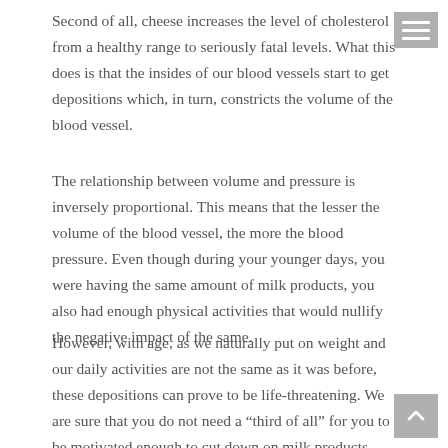Second of all, cheese increases the level of cholesterol from a healthy range to seriously fatal levels. What this does is that the insides of our blood vessels start to get depositions which, in turn, constricts the volume of the blood vessel.
The relationship between volume and pressure is inversely proportional. This means that the lesser the volume of the blood vessel, the more the blood pressure. Even though during your younger days, you were having the same amount of milk products, you also had enough physical activities that would nullify the negative impact of the same.
However, with age, as we naturally put on weight and our daily activities are not the same as it was before, these depositions can prove to be life-threatening. We are sure that you do not need a “third of all” for you to be motivated enough to cut down on milk products. Avoid salty food and reduce the consumption of your milk and related products